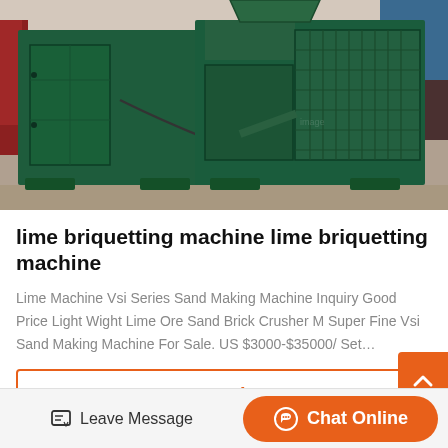[Figure (photo): Green industrial lime briquetting machine photographed in a factory/warehouse setting. The machine is large, dark teal/green colored, with a rectangular body and mechanical components including a grill/ventilation section on the right side.]
lime briquetting machine lime briquetting machine
Lime Machine Vsi Series Sand Making Machine Inquiry Good Price Light Wight Lime Ore Sand Brick Crusher M Super Fine Vsi Sand Making Machine For Sale. US $3000-$35000/ Set…
Get Price
Leave Message   Chat Online